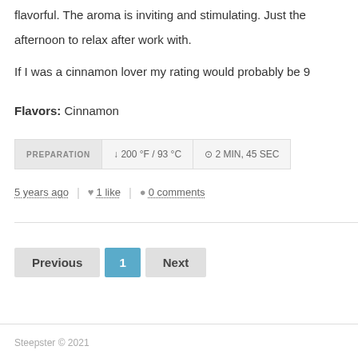flavorful. The aroma is inviting and stimulating. Just the afternoon to relax after work with.

If I was a cinnamon lover my rating would probably be 9
Flavors: Cinnamon
PREPARATION  ↓ 200 °F / 93 °C  ⊙ 2 MIN, 45 SEC
5 years ago  |  ♥ 1 like  |  ● 0 comments
Previous  1  Next
Steepster © 2021